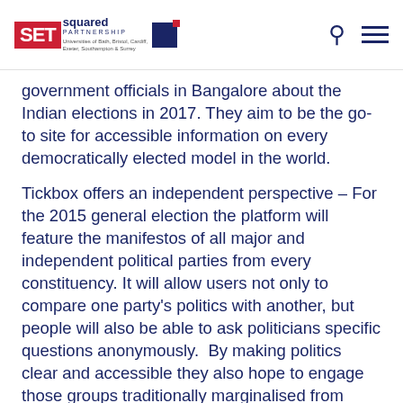SETsquared Partnership — Universities of Bath, Bristol, Cardiff, Exeter, Southampton & Surrey
government officials in Bangalore about the Indian elections in 2017. They aim to be the go-to site for accessible information on every democratically elected model in the world.
Tickbox offers an independent perspective – For the 2015 general election the platform will feature the manifestos of all major and independent political parties from every constituency. It will allow users not only to compare one party's politics with another, but people will also be able to ask politicians specific questions anonymously.  By making politics clear and accessible they also hope to engage those groups traditionally marginalised from politics – such as – women and under 25s.